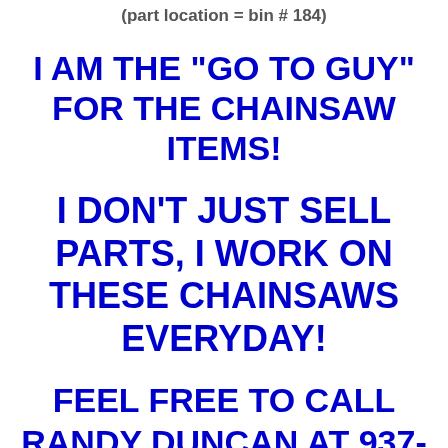(part location = bin # 184)
I AM THE "GO TO GUY" FOR THE CHAINSAW ITEMS!
I DON'T JUST SELL PARTS, I WORK ON THESE CHAINSAWS EVERYDAY!
FEEL FREE TO CALL RANDY DUNCAN AT 937-927-5665 FROM 8AM-4PM EASTERN TIME IF YOU HAVE ANY